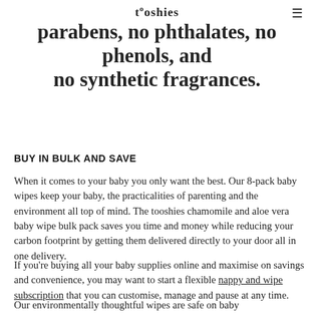tooshies
Wipes contain no plastics, no alcohol, no parabens, no phthalates, no phenols, and no synthetic fragrances.
BUY IN BULK AND SAVE
When it comes to your baby you only want the best. Our 8-pack baby wipes keep your baby, the practicalities of parenting and the environment all top of mind. The tooshies chamomile and aloe vera baby wipe bulk pack saves you time and money while reducing your carbon footprint by getting them delivered directly to your door all in one delivery.
If you're buying all your baby supplies online and maximise on savings and convenience, you may want to start a flexible nappy and wipe subscription that you can customise, manage and pause at any time.
Our environmentally thoughtful wipes are safe on baby